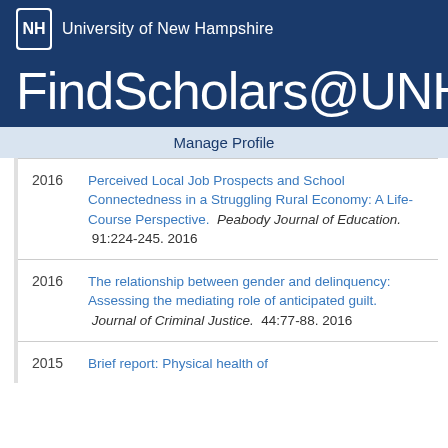University of New Hampshire
FindScholars@UNH
Manage Profile
2016 Perceived Local Job Prospects and School Connectedness in a Struggling Rural Economy: A Life-Course Perspective. Peabody Journal of Education. 91:224-245. 2016
2016 The relationship between gender and delinquency: Assessing the mediating role of anticipated guilt. Journal of Criminal Justice. 44:77-88. 2016
2015 Brief report: Physical health of